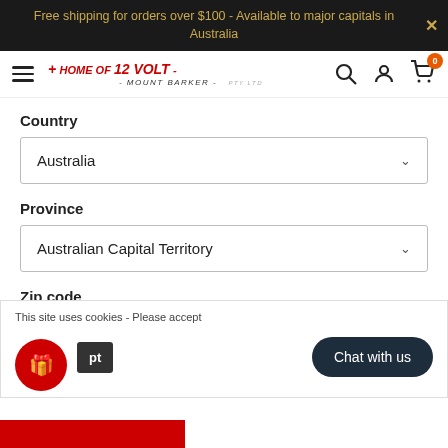Free shipping for orders over $100 - Available to major capitals in Australia
[Figure (logo): Home of 12 Volt Mount Barker logo with red cross and text]
Country
Australia
Province
Australian Capital Territory
Zip code
This site uses cookies - Please accept
Chat with us